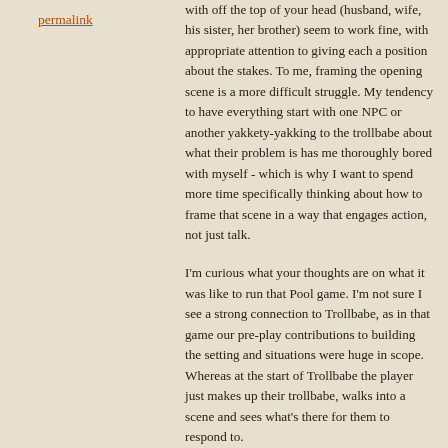permalink
with off the top of your head (husband, wife, his sister, her brother) seem to work fine, with appropriate attention to giving each a position about the stakes. To me, framing the opening scene is a more difficult struggle. My tendency to have everything start with one NPC or another yakkety-yakking to the trollbabe about what their problem is has me thoroughly bored with myself - which is why I want to spend more time specifically thinking about how to frame that scene in a way that engages action, not just talk.
I'm curious what your thoughts are on what it was like to run that Pool game. I'm not sure I see a strong connection to Trollbabe, as in that game our pre-play contributions to building the setting and situations were huge in scope. Whereas at the start of Trollbabe the player just makes up their trollbabe, walks into a scene and sees what's there for them to respond to.